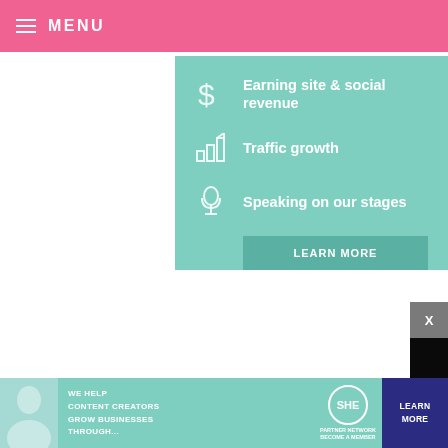MENU
Earning site & social revenue
Traffic growth
Speaking on our stages
[Figure (screenshot): Video player overlay showing a paused video with play button, progress bar at 13:52, and media controls including mute, CC, grid, settings, and fullscreen buttons]
Of course, I had to p[ut] them mini. Major cu[stom] she did. Simple and [...]
and I eat them like a giant pecan pie cookie.
[Figure (infographic): SHE Media Partner Network advertisement: We help content creators grow businesses through... Learn More]